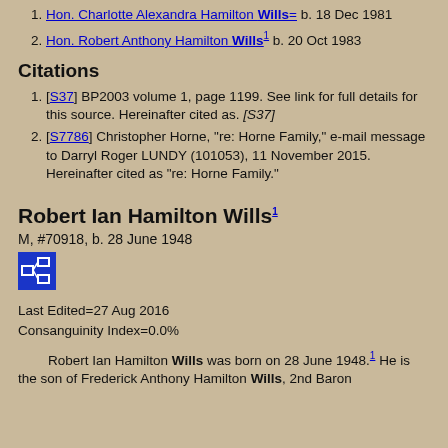Hon. Charlotte Alexandra Hamilton Wills= b. 18 Dec 1981
Hon. Robert Anthony Hamilton Wills1 b. 20 Oct 1983
Citations
[S37] BP2003 volume 1, page 1199. See link for full details for this source. Hereinafter cited as. [S37]
[S7786] Christopher Horne, "re: Horne Family," e-mail message to Darryl Roger LUNDY (101053), 11 November 2015. Hereinafter cited as "re: Horne Family."
Robert Ian Hamilton Wills1
M, #70918, b. 28 June 1948
Last Edited=27 Aug 2016
Consanguinity Index=0.0%
Robert Ian Hamilton Wills was born on 28 June 1948.1 He is the son of Frederick Anthony Hamilton Wills, 2nd Baron